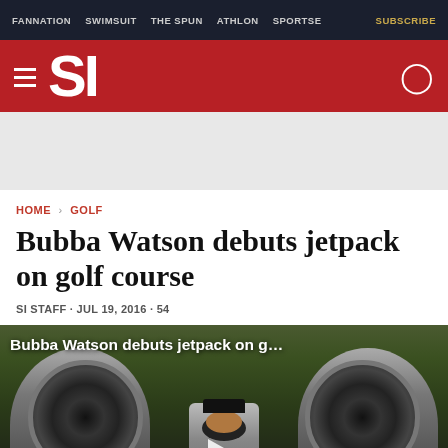FANNATION  SWIMSUIT  THE SPUN  ATHLON  SPORTSE  SUBSCRIBE
[Figure (logo): Sports Illustrated SI logo on red background with hamburger menu icon and user account icon]
HOME > GOLF
Bubba Watson debuts jetpack on golf course
SI STAFF · JUL 19, 2016 · 54
[Figure (screenshot): Video thumbnail showing Bubba Watson with a jetpack on a golf course. Overlay text reads: Bubba Watson debuts jetpack on g... with a play button visible. Man wearing Ping hat visible between two large fan/turbine structures.]